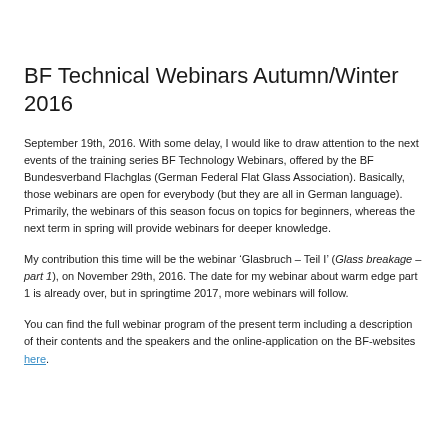BF Technical Webinars Autumn/Winter 2016
September 19th, 2016. With some delay, I would like to draw attention to the next events of the training series BF Technology Webinars, offered by the BF Bundesverband Flachglas (German Federal Flat Glass Association). Basically, those webinars are open for everybody (but they are all in German language). Primarily, the webinars of this season focus on topics for beginners, whereas the next term in spring will provide webinars for deeper knowledge.
My contribution this time will be the webinar ‘Glasbruch – Teil I’ (Glass breakage – part 1), on November 29th, 2016. The date for my webinar about warm edge part 1 is already over, but in springtime 2017, more webinars will follow.
You can find the full webinar program of the present term including a description of their contents and the speakers and the online-application on the BF-websites here.